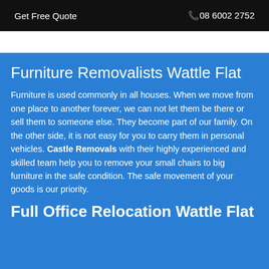Get Free Quote   📞08 6002 2752
Furniture Removalists Wattle Flat
Furniture is used commonly in all houses. When we move from one place to another forever, we can not let them be there or sell them to someone else. They become part of our family. On the other side, it is not easy for you to carry them in personal vehicles. Castle Removals with their highly experienced and skilled team help you to remove your small chairs to big furniture in the safe condition. The safe movement of your goods is our priority.
Full Office Relocation Wattle Flat